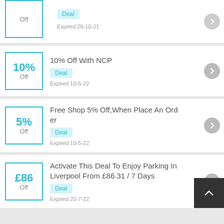[Figure (other): Partial deal card at top: discount box showing 'Off', Deal badge, Expired 26-10-21]
10% Off With NCP
Deal | Expired 10-5-22
Free Shop 5% Off,When Place An Order
Deal | Expired 10-5-22
Activate This Deal To Enjoy Parking In Liverpool From £86.31 / 7 Days
Deal | Expired 20-7-22